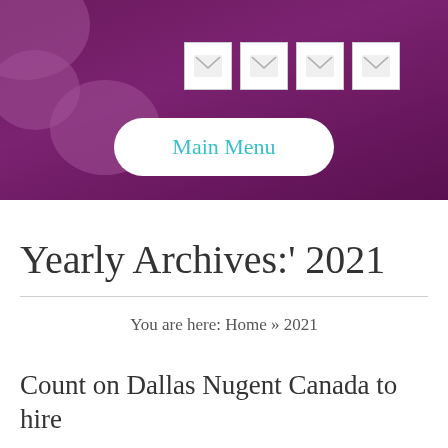[Figure (screenshot): Purple gradient website header with cloud decorations, four social media icon placeholders, and a white rounded 'Main Menu' button with cyan text]
Yearly Archives:' 2021
You are here: Home » 2021
Count on Dallas Nugent Canada to hire